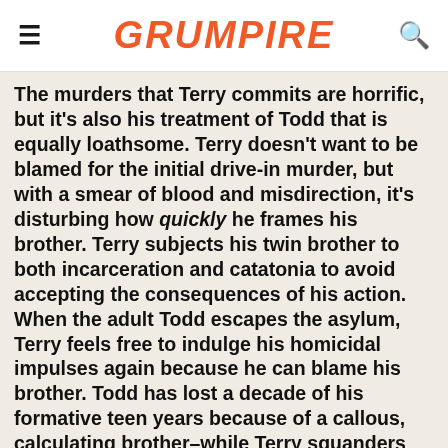GRUMPIRE
The murders that Terry commits are horrific, but it's also his treatment of Todd that is equally loathsome. Terry doesn't want to be blamed for the initial drive-in murder, but with a smear of blood and misdirection, it's disturbing how quickly he frames his brother. Terry subjects his twin brother to both incarceration and catatonia to avoid accepting the consequences of his action. When the adult Todd escapes the asylum, Terry feels free to indulge his homicidal impulses again because he can blame his brother. Todd has lost a decade of his formative teen years because of a callous, calculating brother–while Terry squanders his freedom and ignores his sex drive, Todd has been imprisoned inside his own mind, unable to reconcile his brother's murderous act